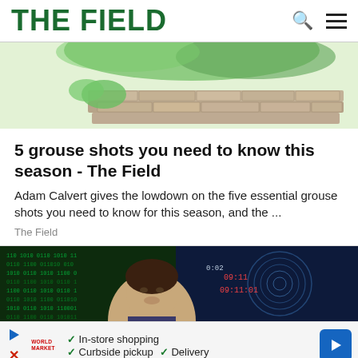THE FIELD
[Figure (illustration): Partial illustration of a grouse or game bird near a stone wall with green foliage, cropped at the top of the page.]
5 grouse shots you need to know this season - The Field
Adam Calvert gives the lowdown on the five essential grouse shots you need to know for this season, and the ...
The Field
[Figure (photo): A man with dark hair in front of a background with green data/code imagery and fingerprint patterns. Times displayed: 0:02, 09:11, 09:11:01.]
✓ In-store shopping   ✓ Curbside pickup   ✓ Delivery